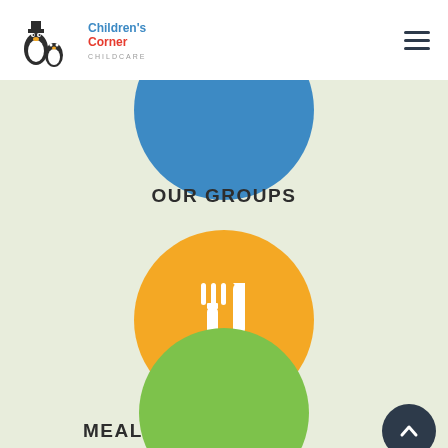[Figure (logo): Children's Corner Childcare logo with penguin mascots]
OUR GROUPS
[Figure (illustration): Orange circle with white fork and knife icon representing Meals & Diet section]
MEALS & DIET